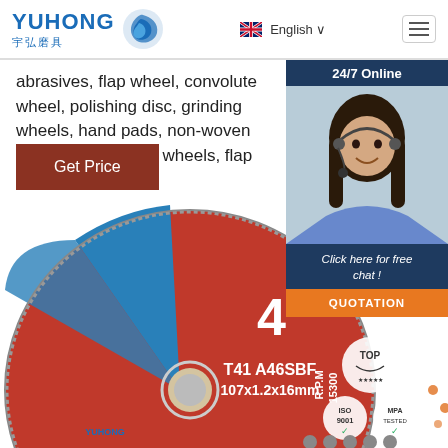[Figure (logo): Yuhong abrasives company logo with blue wave icon and Chinese characters]
English
abrasives, flap wheel, convolute wheel, polishing disc, grinding wheels, hand pads, non-woven hand rolls, unitized wheels, flap brushes, unitized d...
24/7 Online
Get Price
[Figure (photo): Customer service representative woman with headset smiling]
Click here for free chat !
QUOTATION
[Figure (photo): 4 inch cutting disc/grinding wheel T41 A46SBF 107x1.2x16mm R.P.M 15300 with TOP, ISO 9001 and MPA TESTED certification marks]